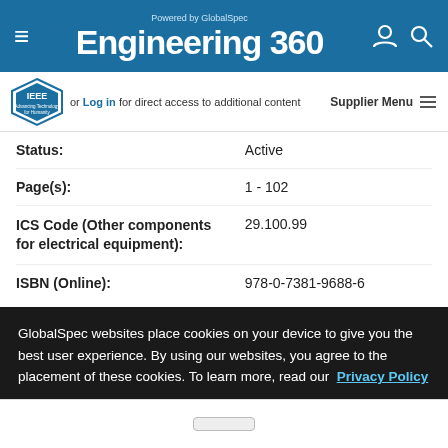Powered by GlobalSpec Engineering 360
[Figure (logo): IEEE logo - Advancing Technology for Humanity diamond logo]
or Log in for direct access to additional content
Supplier Menu
| Field | Value |
| --- | --- |
| Status: | Active |
| Page(s): | 1 - 102 |
| ICS Code (Other components for electrical equipment): | 29.100.99 |
| ISBN (Online): | 978-0-7381-9688-6 |
Standard:
General and specific recommendations for grounding current and voltage transformer secondary circuits and cases of connected equipment are covered in this guide. Although most
GlobalSpec websites place cookies on your device to give you the best user experience. By using our websites, you agree to the placement of these cookies. To learn more, read our Privacy Policy